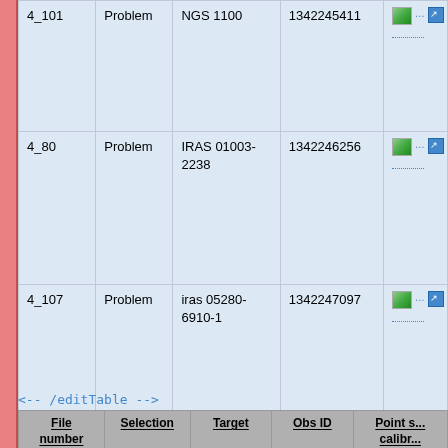| File number | Selection | Target | Obs ID | Point s... calibr... spe... befor... af... backg... |
| --- | --- | --- | --- | --- |
| 4_101 | Problem | NGS 1100 | 1342245411 |  |
| 4_80 | Problem | IRAS 01003-2238 | 1342246256 |  |
| 4_107 | Problem | iras 05280-6910-1 | 1342247097 |  |
| 4_171 | Problem | HATLAS-NGP-NB.V1.78 | 1342249063 |  |
<!-- /editTable -->
| File number | Selection | Target | Obs ID | Point s... calibr... spe... befor... af... backg... |
| --- | --- | --- | --- | --- |